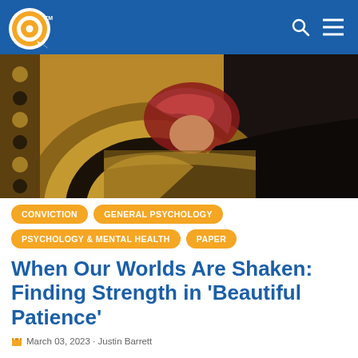Q [logo] | Search | Menu
[Figure (photo): Person in patterned headwear prostrating in prayer on an ornate circular rug with geometric designs]
CONVICTION   GENERAL PSYCHOLOGY   PSYCHOLOGY & MENTAL HEALTH   PAPER
When Our Worlds Are Shaken: Finding Strength in ‘Beautiful Patience’
March 03, 2023 · Justin Barrett